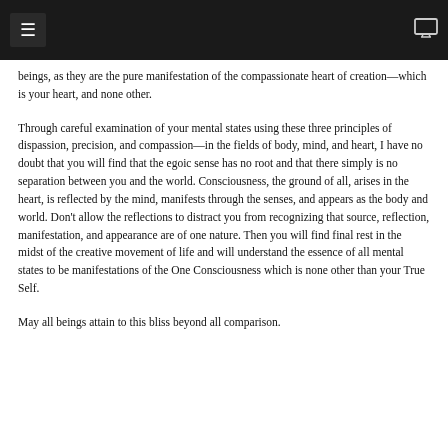≡  [monitor icon]
beings, as they are the pure manifestation of the compassionate heart of creation—which is your heart, and none other.
Through careful examination of your mental states using these three principles of dispassion, precision, and compassion—in the fields of body, mind, and heart, I have no doubt that you will find that the egoic sense has no root and that there simply is no separation between you and the world. Consciousness, the ground of all, arises in the heart, is reflected by the mind, manifests through the senses, and appears as the body and world. Don't allow the reflections to distract you from recognizing that source, reflection, manifestation, and appearance are of one nature. Then you will find final rest in the midst of the creative movement of life and will understand the essence of all mental states to be manifestations of the One Consciousness which is none other than your True Self.
May all beings attain to this bliss beyond all comparison.